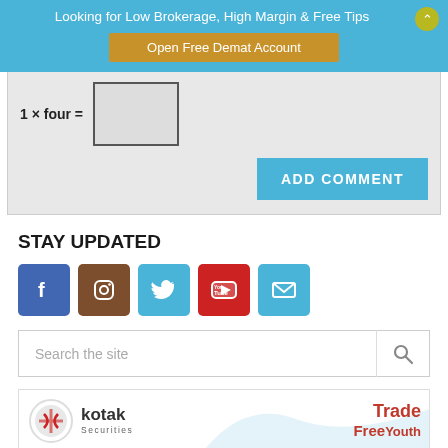Looking for Low Brokerage, High Margin & Free Tips
Open Free Demat Account
ADD COMMENT
STAY UPDATED
[Figure (other): Social media icons: Facebook, Instagram, Twitter, YouTube, Email]
Search the site
[Figure (logo): Kotak Securities - Trade Free Youth advertisement banner]